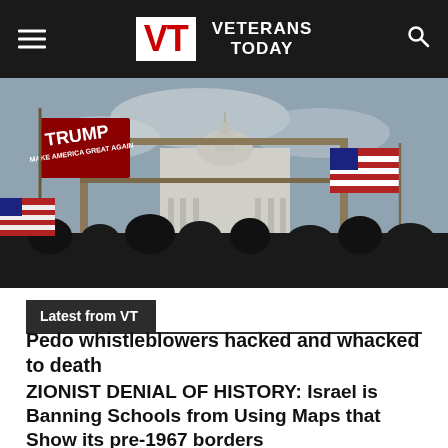Veterans Today
[Figure (photo): Crowd scene at US Capitol building with Trump and American flags visible, overcast sky]
Latest from VT
Pedo whistleblowers hacked and whacked to death
ZIONIST DENIAL OF HISTORY: Israel is Banning Schools from Using Maps that Show its pre-1967 borders
Interference in Ukraine Turns into Nightmare for West